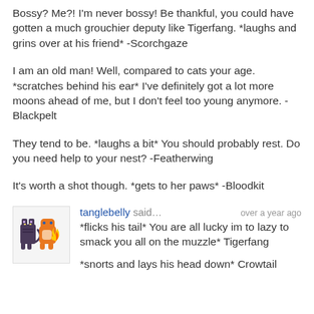Bossy? Me?! I'm never bossy! Be thankful, you could have gotten a much grouchier deputy like Tigerfang. *laughs and grins over at his friend* -Scorchgaze
I am an old man! Well, compared to cats your age. *scratches behind his ear* I've definitely got a lot more moons ahead of me, but I don't feel too young anymore. -Blackpelt
They tend to be. *laughs a bit* You should probably rest. Do you need help to your nest? -Featherwing
It's worth a shot though. *gets to her paws* -Bloodkit
tanglebelly said... over a year ago
*flicks his tail* You are all lucky im to lazy to smack you all on the muzzle* Tigerfang

*snorts and lays his head down* Crowtail